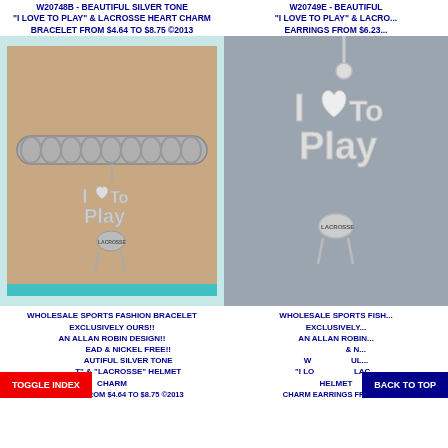W20748B - BEAUTIFUL SILVER TONE "I LOVE TO PLAY" & LACROSSE HEART CHARM BRACELET FROM $4.64 TO $8.75 ©2013
W20749E - BEAUTIFUL "I LOVE TO PLAY" & LACROSSE EARRINGS FROM $6.23...
[Figure (photo): Silver tone charm bracelet with 'I Love To Play' and lacrosse heart charm, shown on wrist]
[Figure (photo): Silver tone fish hook earring with 'I Love To Play' and lacrosse heart charm]
WHOLESALE SPORTS FASHION BRACELET EXCLUSIVELY OURS!! AN ALLAN ROBIN DESIGN!! LEAD & NICKEL FREE!! BEAUTIFUL SILVER TONE "I" & "LACROSSE" HELMET CHARM BRACELET FROM $4.64 TO $8.75 ©2013
WHOLESALE SPORTS FISH... EXCLUSIVELY... AN ALLAN ROBIN... LEAD & NICKEL FREE!! WHOLESALE... UL... "I LO..." LACROSSE HELMET CHARM EARRINGS FROM $...
TOGGLE INDEX
BACK TO TOP